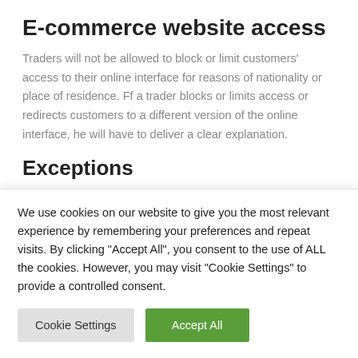E-commerce website access
Traders will not be allowed to block or limit customers’ access to their online interface for reasons of nationality or place of residence. Ff a trader blocks or limits access or redirects customers to a different version of the online interface, he will have to deliver a clear explanation.
Exceptions
The provision of (non-audiovisual) copyright protected content services (such as e-books, on-line
We use cookies on our website to give you the most relevant experience by remembering your preferences and repeat visits. By clicking “Accept All”, you consent to the use of ALL the cookies. However, you may visit “Cookie Settings” to provide a controlled consent.
Cookie Settings
Accept All